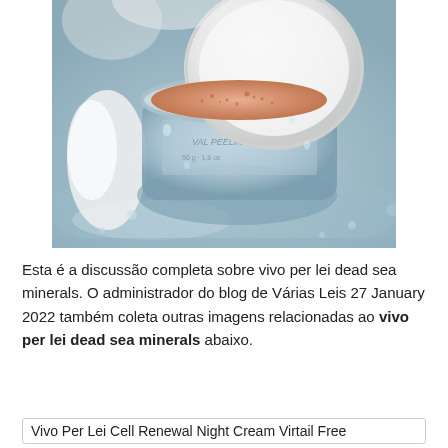[Figure (photo): Close-up photo of a clear glass cosmetic jar with white cream lid open, showing a pinkish-beige exfoliating scrub inside, with water droplets and cream on a reflective surface.]
Esta é a discussão completa sobre vivo per lei dead sea minerals. O administrador do blog de Várias Leis 27 January 2022 também coleta outras imagens relacionadas ao vivo per lei dead sea minerals abaixo.
Vivo Per Lei Cell Renewal Night Cream Virtail Free